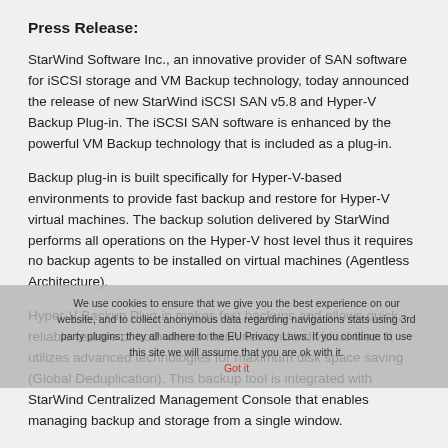Press Release:
StarWind Software Inc., an innovative provider of SAN software for iSCSI storage and VM Backup technology, today announced the release of new StarWind iSCSI SAN v5.8 and Hyper-V Backup Plug-in. The iSCSI SAN software is enhanced by the powerful VM Backup technology that is included as a plug-in.
Backup plug-in is built specifically for Hyper-V-based environments to provide fast backup and restore for Hyper-V virtual machines. The backup solution delivered by StarWind performs all operations on the Hyper-V host level thus it requires no backup agents to be installed on virtual machines (Agentless Architecture).
Hyper-V Backup Plug-in makes fast backups and allows quick, reliable restore of both virtual machines and individual files. It utilizes advanced technologies for maximum disk space saving (Global Deduplication). This backup tool is integrated with StarWind Centralized Management Console that enables managing backup and storage from a single window.
We use cookies to ensure that we give you the best experience on our website, and to collect anonymous data regarding navigations stats using 3rd party plugins; they all adhere to the EU Privacy Laws. If you continue to use this site we will assume that you are ok with it.
Additionally, a new version of HA plug-in is presented in